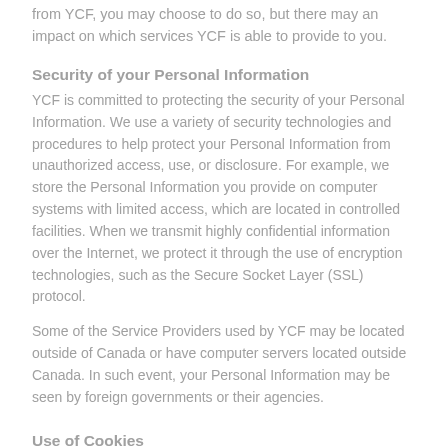from YCF, you may choose to do so, but there may an impact on which services YCF is able to provide to you.
Security of your Personal Information
YCF is committed to protecting the security of your Personal Information. We use a variety of security technologies and procedures to help protect your Personal Information from unauthorized access, use, or disclosure. For example, we store the Personal Information you provide on computer systems with limited access, which are located in controlled facilities. When we transmit highly confidential information over the Internet, we protect it through the use of encryption technologies, such as the Secure Socket Layer (SSL) protocol.
Some of the Service Providers used by YCF may be located outside of Canada or have computer servers located outside Canada. In such event, your Personal Information may be seen by foreign governments or their agencies.
Use of Cookies
YCF uses "cookies" to help...